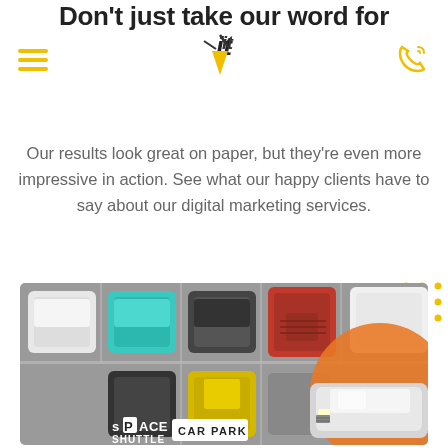Don't just take our word for it
Navigation header with hamburger menu, logo, and phone icon
Our results look great on paper, but they're even more impressive in action. See what our happy clients have to say about our digital marketing services.
[Figure (photo): Aerial top-down view of a car park with multiple parked cars in various colors (white, teal, grey, red, black, yellow, silver). An orange circular graphic is overlaid on the right side. The Space Shuttle Car Park logo/branding is shown at the bottom center of the image.]